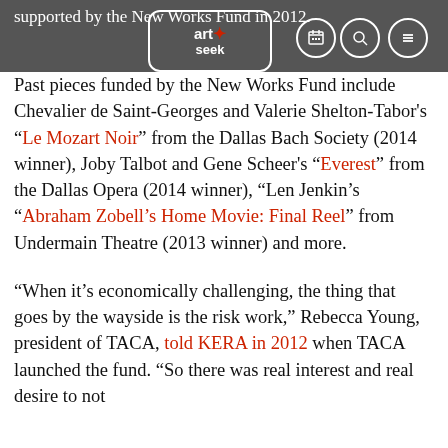supported by the New Works Fund in 2012.
[Figure (logo): Art+Seek logo in a rounded speech-bubble outline, white on grey background, with three icon circles (calendar, search, menu) to the right]
Past pieces funded by the New Works Fund include Chevalier de Saint-Georges and Valerie Shelton-Tabor's “Le Mozart Noir” from the Dallas Bach Society (2014 winner), Joby Talbot and Gene Scheer's “Everest” from the Dallas Opera (2014 winner), “Len Jenkin’s “Abraham Zobell’s Home Movie: Final Reel” from Undermain Theatre (2013 winner) and more.
“When it’s economically challenging, the thing that goes by the wayside is the risk work,” Rebecca Young, president of TACA, told KERA in 2012 when TACA launched the fund. “So there was real interest and real desire to not